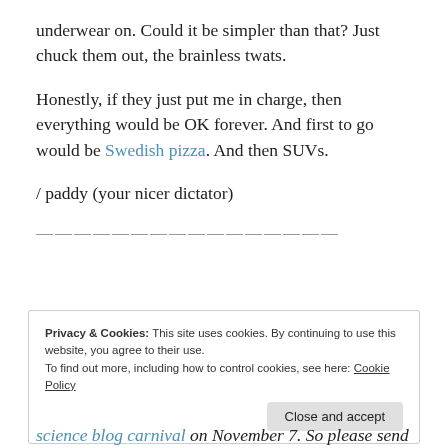underwear on. Could it be simpler than that? Just chuck them out, the brainless twats.
Honestly, if they just put me in charge, then everything would be OK forever. And first to go would be Swedish pizza. And then SUVs.
/ paddy (your nicer dictator)
————————————————
Privacy & Cookies: This site uses cookies. By continuing to use this website, you agree to their use.
To find out more, including how to control cookies, see here: Cookie Policy
Close and accept
science blog carnival on November 7. So please send